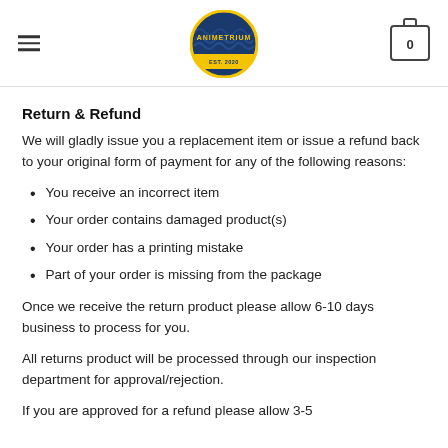ANIMETRIUM logo, hamburger menu, cart icon
Return & Refund
We will gladly issue you a replacement item or issue a refund back to your original form of payment for any of the following reasons:
You receive an incorrect item
Your order contains damaged product(s)
Your order has a printing mistake
Part of your order is missing from the package
Once we receive the return product please allow 6-10 days business to process for you.
All returns product will be processed through our inspection department for approval/rejection.
If you are approved for a refund please allow 3-5